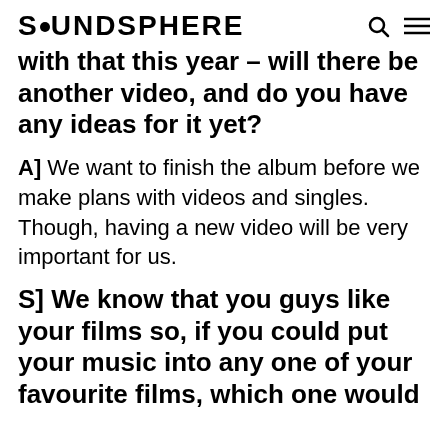SOUNDSPHERE
with that this year – will there be another video, and do you have any ideas for it yet?
A] We want to finish the album before we make plans with videos and singles. Though, having a new video will be very important for us.
S] We know that you guys like your films so, if you could put your music into any one of your favourite films, which one would